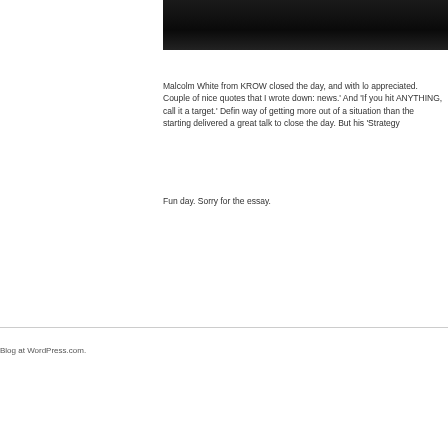[Figure (photo): Dark photograph of people, partially visible at top right of page]
Malcolm White from KROW closed the day, and with lo appreciated. Couple of nice quotes that I wrote down: news.' And 'If you hit ANYTHING, call it a target.' Defin way of getting more out of a situation than the starting delivered a great talk to close the day. But his 'Strategy
Fun day. Sorry for the essay.
Blog at WordPress.com.